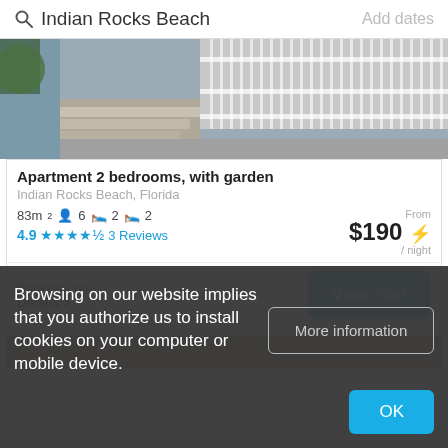Indian Rocks Beach   Add dates
[Figure (photo): Photo of apartment exterior with stairs, blue fence/gate, and concrete pavement]
Apartment 2 bedrooms, with garden
Indian Rocks Beach, Florida
83m² 6 persons 2 bedrooms 2 bathrooms
4.9 ★★★★½ 3 Reviews
From $190 ⚡ / night
Booking.com
Details >
View offer
[Figure (photo): Partial view of another listing photo (brownish/orange tones)]
Browsing on our website implies that you authorize us to install cookies on your computer or mobile device.
More information
OK